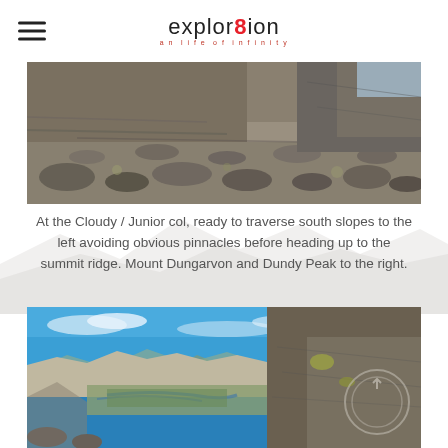explor8ion
[Figure (photo): Rocky mountain scree slope showing layered shale and talus rocks at the Cloudy / Junior col, with a steep rocky ridgeline visible in the upper right against a blue sky.]
At the Cloudy / Junior col, ready to traverse south slopes to the left avoiding obvious pinnacles before heading up to the summit ridge. Mount Dungarvon and Dundy Peak to the right.
[Figure (photo): Panoramic mountain summit view showing a vast canyon and valley below with a river visible, blue sky with light clouds, rocky canyon walls on the right with a circular cairn marker, and layered cliff formations in the distance.]